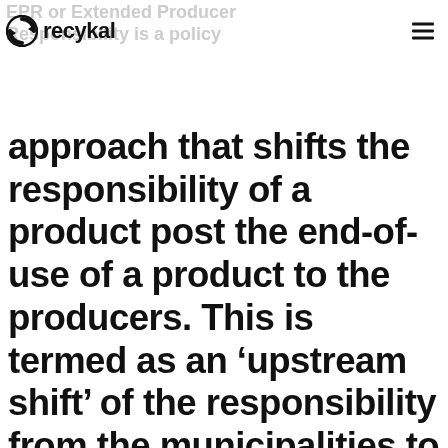EPR or Extended Producer Responsibility is a policy
approach that shifts the responsibility of a product post the end-of-use of a product to the producers. This is termed as an ‘upstream shift’ of the responsibility from the municipalities to the producers. WWF has identified EPR (Extended Producer Responsibility) as